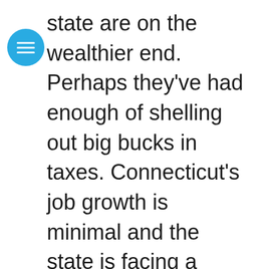state are on the wealthier end. Perhaps they've had enough of shelling out big bucks in taxes. Connecticut's job growth is minimal and the state is facing a huge budget deficit. The cost of living isn't cheap either – it's well above the national average. If you can afford it, however, Connecticut is a lovely place to live. Rich in American heritage and some of the most gorgeous